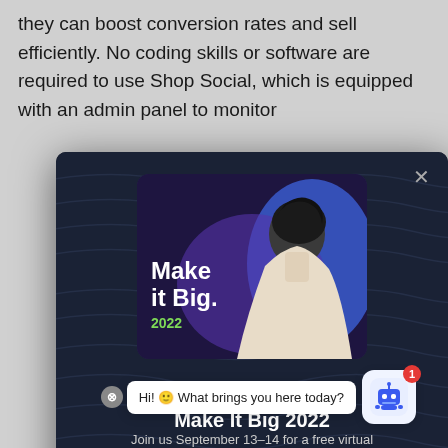they can boost conversion rates and sell efficiently. No coding skills or software are required to use Shop Social, which is equipped with an admin panel to monitor
[Figure (screenshot): Dark modal popup overlay on a gray background. The modal has a dark navy background with subtle wavy lines. Inside is an event promotional card showing 'Make it Big. 2022' with a woman's photo and a blue/purple background. Below the card is the title 'Make It Big 2022' and partial text 'Join us September 13-14 for a free virtual conference... business.' A close X button is in the top right. A chatbot widget appears in the bottom right with a speech bubble saying 'Hi! What brings you here today?' and a robot icon with a red notification badge showing '1'.]